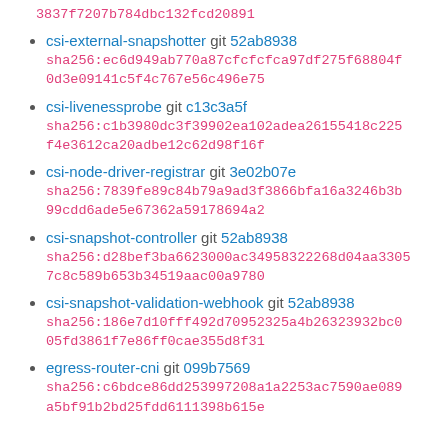3837f7207b784dbc132fcd20891
csi-external-snapshotter git 52ab8938 sha256:ec6d949ab770a87cfcfcfca97df275f68804f0d3e09141c5f4c767e56c496e75
csi-livenessprobe git c13c3a5f sha256:c1b3980dc3f39902ea102adea26155418c225f4e3612ca20adbe12c62d98f16f
csi-node-driver-registrar git 3e02b07e sha256:7839fe89c84b79a9ad3f3866bfa16a3246b3b99cdd6ade5e67362a59178694a2
csi-snapshot-controller git 52ab8938 sha256:d28bef3ba6623000ac34958322268d04aa33057c8c589b653b34519aac00a9780
csi-snapshot-validation-webhook git 52ab8938 sha256:186e7d10fff492d70952325a4b26323932bc005fd3861f7e86ff0cae355d8f31
egress-router-cni git 099b7569 sha256:c6bdce86dd253997208a1a2253ac7590ae089a5bf91b2bd25fdd6111398b615e